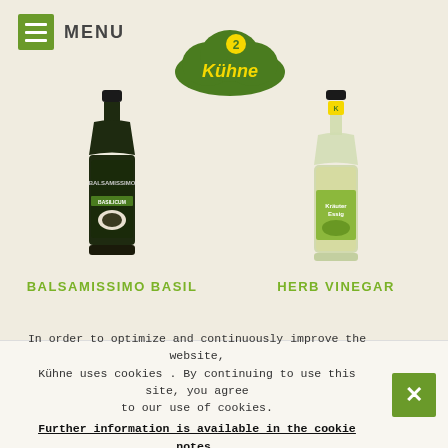[Figure (logo): Hamburger menu icon (green square with three white lines) and MENU text]
[Figure (logo): Kühne brand logo: green cloud shape with yellow Kühne text and number 2 emblem]
[Figure (photo): Kühne Balsamissimo Basil dark glass bottle with green cap and label showing tomato and mozzarella]
[Figure (photo): Kühne Kräuter Essig (Herb Vinegar) tall clear bottle with herb-infused contents and green label]
BALSAMISSIMO BASIL
HERB VINEGAR
In order to optimize and continuously improve the website, Kühne uses cookies . By continuing to use this site, you agree to our use of cookies.
Further information is available in the cookie notes.